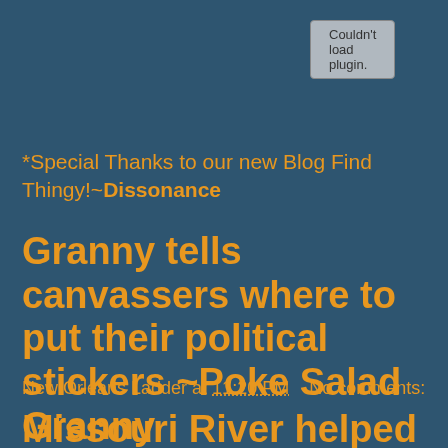[Figure (screenshot): Browser plugin error box reading 'Couldn't load plugin.']
*Special Thanks to our new Blog Find Thingy!~Dissonance
Granny tells canvassers where to put their political stickers ~Poke Salad Granny
New Orleans Ladder at 11:20 PM    No comments:
Missouri River helped build Louisiana coast, but it won't